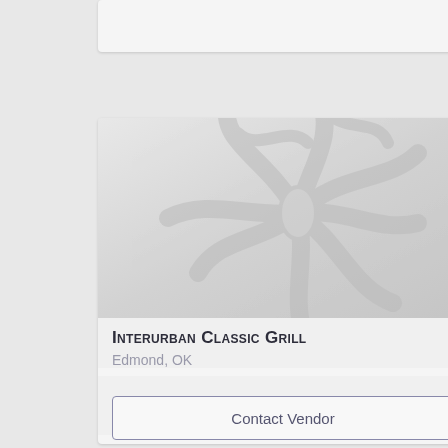[Figure (other): Top card placeholder — partial card visible at top of screen, light gray background]
[Figure (illustration): Decorative flower/snowflake logo watermark in gray tones on gradient gray background]
Interurban Classic Grill
Edmond, OK
Leave a Review
Contact Vendor